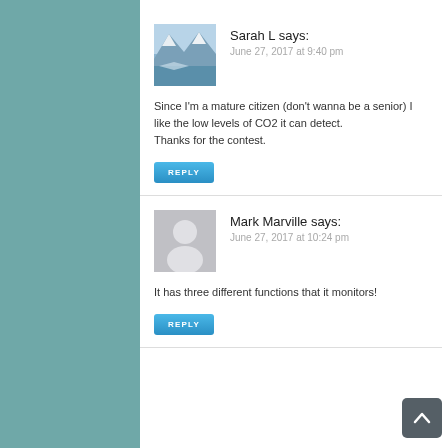Sarah L says:
June 27, 2017 at 9:40 pm
[Figure (photo): Snow-capped mountain landscape with blue water in foreground]
Since I'm a mature citizen (don't wanna be a senior) I like the low levels of CO2 it can detect.
Thanks for the contest.
REPLY
Mark Marville says:
June 27, 2017 at 10:24 pm
[Figure (illustration): Generic grey avatar placeholder with person silhouette]
It has three different functions that it monitors!
REPLY